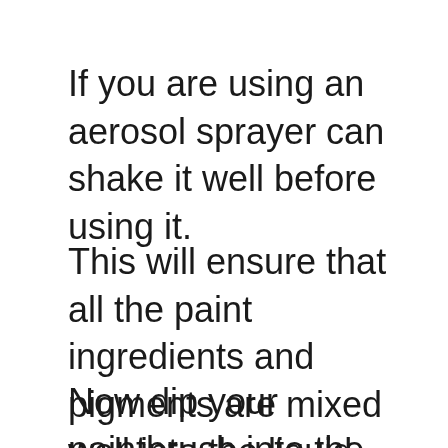If you are using an aerosol sprayer can shake it well before using it.
This will ensure that all the paint ingredients and pigments are mixed well into the liquid.
Now dip your paintbrush into the can and start applying the paint evenly on the wood.